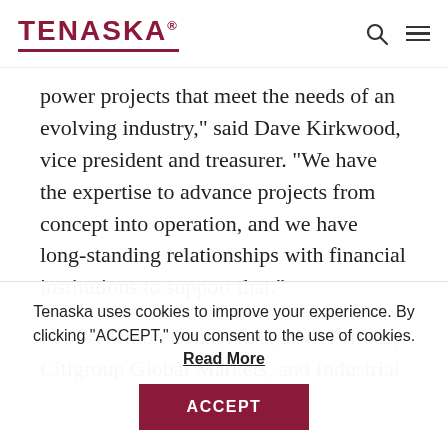TENASKA®
power projects that meet the needs of an evolving industry," said Dave Kirkwood, vice president and treasurer. "We have the expertise to advance projects from concept into operation, and we have long-standing relationships with financial institutions to support that."
MUFG Union Bank, N.A., BNP Paribas, Citigroup Global Markets, and Industrial
Tenaska uses cookies to improve your experience. By clicking "ACCEPT," you consent to the use of cookies. Read More
ACCEPT